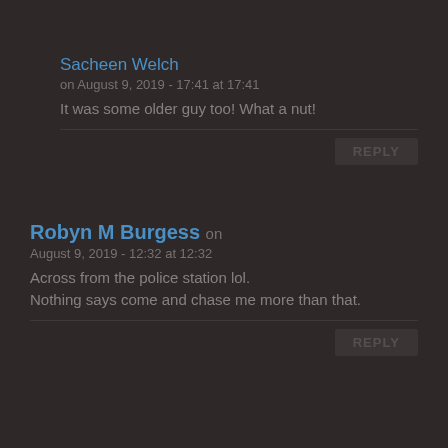Sacheen Welch
on August 9, 2019 - 17:41 at 17:41
It was some older guy too! What a nut!
REPLY
Robyn M Burgess on August 9, 2019 - 12:32 at 12:32
Across from the police station lol. Nothing says come and chase me more than that.
REPLY